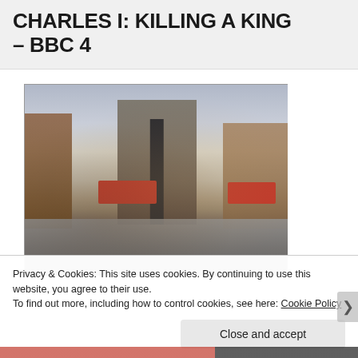CHARLES I: KILLING A KING – BBC 4
[Figure (illustration): Oil painting style illustration of a historic city square scene with red trams, wet cobblestone streets, a tall monument/spire, warm glowing windows in brick buildings, figures walking, and a cloudy atmospheric sky. Appears to depict a British city scene from the early 20th century.]
Privacy & Cookies: This site uses cookies. By continuing to use this website, you agree to their use.
To find out more, including how to control cookies, see here: Cookie Policy
Close and accept